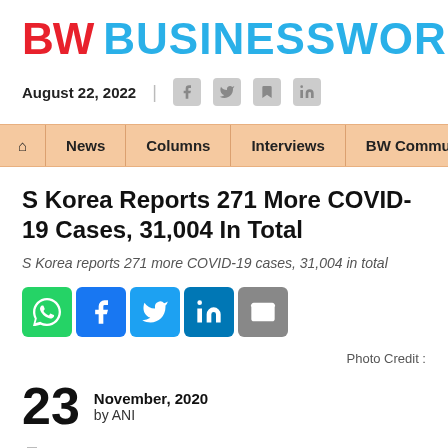BW BUSINESSWORLD
August 22, 2022
Home | News | Columns | Interviews | BW Communities
S Korea Reports 271 More COVID-19 Cases, 31,004 In Total
S Korea reports 271 more COVID-19 cases, 31,004 in total
Photo Credit :
23 November, 2020 by ANI
Print this article